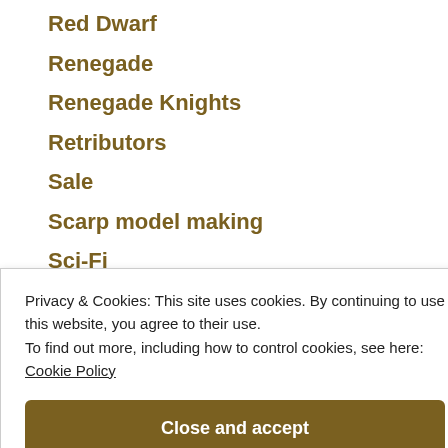Red Dwarf
Renegade
Renegade Knights
Retributors
Sale
Scarp model making
Sci-Fi
Scoring folding (paper)
Scrap model making
Privacy & Cookies: This site uses cookies. By continuing to use this website, you agree to their use. To find out more, including how to control cookies, see here: Cookie Policy
Close and accept